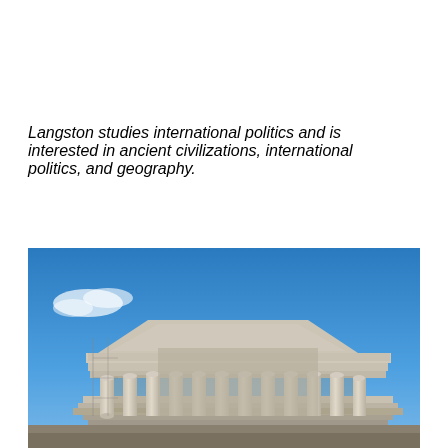Langston studies international politics and is interested in ancient civilizations, international politics, and geography.
[Figure (photo): Photograph of the Parthenon (ancient Greek temple) against a bright blue sky with a few clouds. The classical columns and entablature are prominently visible from a low angle.]